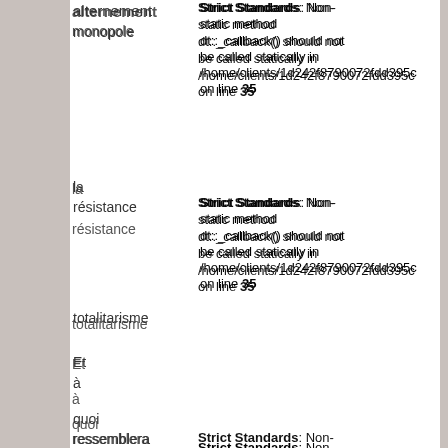Strict Standards: Non-static method dt::_callback() should not be called statically in /home/clients/1d242f8790072fdd395c on line 35
Strict Standards: Non-static method dt::_callback() should not be called statically in /home/clients/1d242f8790072fdd395c on line 35
Strict Standards: Non-static method dt::str() should not be called statically in /home/clients/1d242f8790072fdd395c on line 76
Strict Standards: Non-static method dt::_callback() should not be called statically in /home/clients/1d242f8790072fdd395c on line 35
Strict Standards: Non-static method dt::_callback() should not be called statically in /home/clients/1d242f8790072fdd395c
alternement monopole la résistance totalitarisme Et à quoi ressemblera la gauche européenne dans quelques années, si elle sesse anti-antifasciste